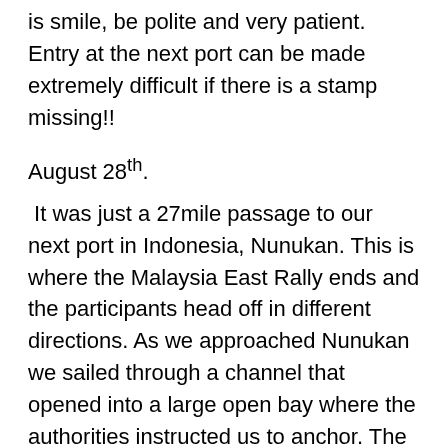is smile, be polite and very patient. Entry at the next port can be made extremely difficult if there is a stamp missing!!
August 28th.
It was just a 27mile passage to our next port in Indonesia, Nunukan. This is where the Malaysia East Rally ends and the participants head off in different directions. As we approached Nunukan we sailed through a channel that opened into a large open bay where the authorities instructed us to anchor. The interesting thing about this channel was that all the way along each bank, reaching out into the channel about 50 to 100mtrs, were thousands upon thousands of plastic bottles all attached together. We stayed well clear and had no idea what this was, but we later learned that seaweed farming/cultivation is huge business in this